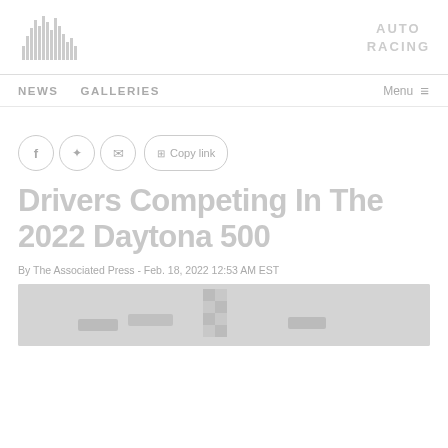AUTO RACING
NEWS   GALLERIES   Menu
Drivers Competing In The 2022 Daytona 500
By The Associated Press - Feb. 18, 2022 12:53 AM EST
[Figure (photo): Racing photo at bottom of page, partially visible]